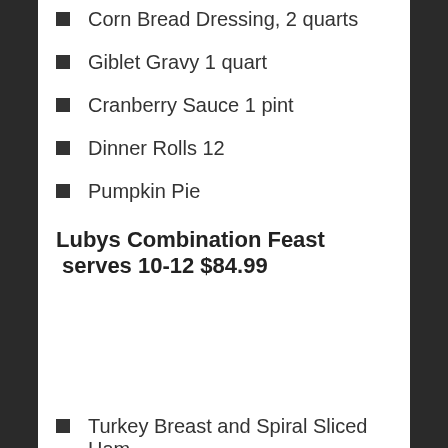Corn Bread Dressing, 2 quarts
Giblet Gravy 1 quart
Cranberry Sauce 1 pint
Dinner Rolls 12
Pumpkin Pie
Lubys Combination Feast  serves 10-12 $84.99
Turkey Breast and Spiral Sliced Ham
Corn Bread Dressing 2 quarts